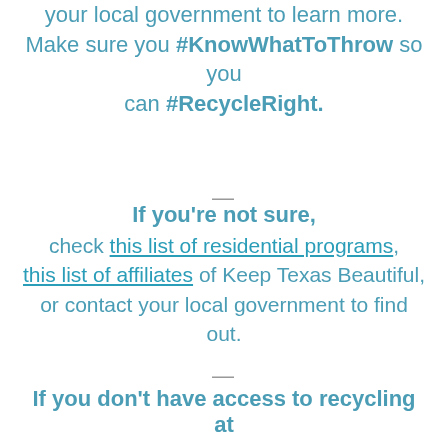your local government to learn more. Make sure you #KnowWhatToThrow so you can #RecycleRight.
—
If you're not sure, check this list of residential programs, this list of affiliates of Keep Texas Beautiful, or contact your local government to find out.
—
If you don't have access to recycling at